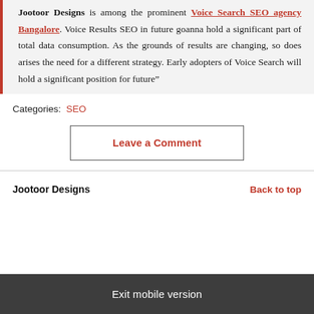Jootoor Designs is among the prominent Voice Search SEO agency Bangalore. Voice Results SEO in future goanna hold a significant part of total data consumption. As the grounds of results are changing, so does arises the need for a different strategy. Early adopters of Voice Search will hold a significant position for future”
Categories: SEO
Leave a Comment
Jootoor Designs | Back to top
Exit mobile version